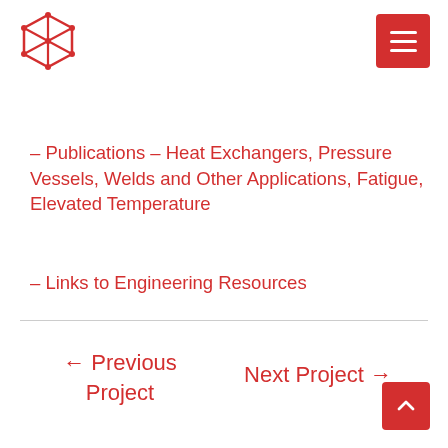[Figure (logo): Red cube/hexagon wireframe logo icon]
– Publications – Heat Exchangers, Pressure Vessels, Welds and Other Applications, Fatigue, Elevated Temperature
– Links to Engineering Resources
← Previous Project
Next Project →